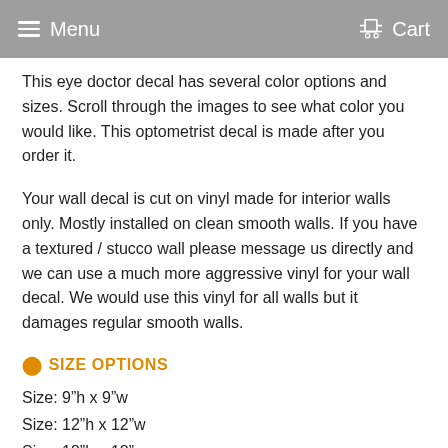Menu   Cart
This eye doctor decal has several color options and sizes. Scroll through the images to see what color you would like. This optometrist decal is made after you order it.
Your wall decal is cut on vinyl made for interior walls only. Mostly installed on clean smooth walls. If you have a textured / stucco wall please message us directly and we can use a much more aggressive vinyl for your wall decal. We would use this vinyl for all walls but it damages regular smooth walls.
SIZE OPTIONS
Size: 9"h x 9"w
Size: 12"h x 12"w
Size: 18"h x 18"w
Size: 24"h x 24"w
Size: 28"h x 28"w